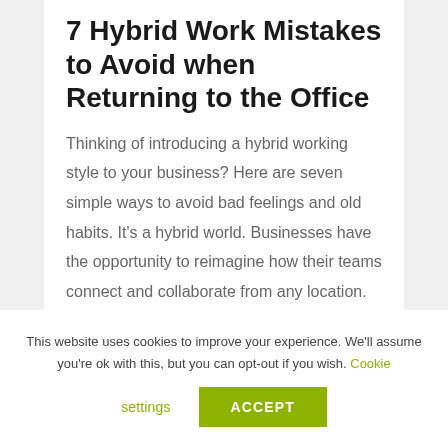7 Hybrid Work Mistakes to Avoid when Returning to the Office
Thinking of introducing a hybrid working style to your business? Here are seven simple ways to avoid bad feelings and old habits. It's a hybrid world. Businesses have the opportunity to reimagine how their teams connect and collaborate from any location. In fact,...
This website uses cookies to improve your experience. We'll assume you're ok with this, but you can opt-out if you wish. Cookie settings ACCEPT